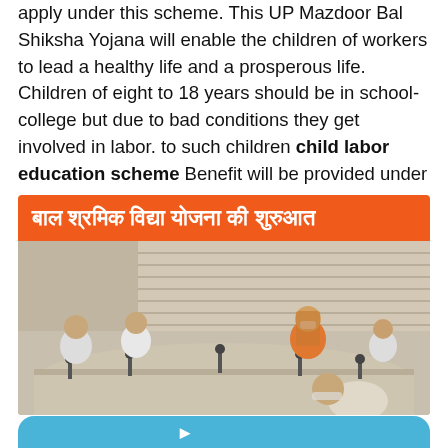apply under this scheme. This UP Mazdoor Bal Shiksha Yojana will enable the children of workers to lead a healthy life and a prosperous life. Children of eight to 18 years should be in school-college but due to bad conditions they get involved in labor. to such children child labor education scheme Benefit will be provided under
[Figure (photo): A meeting room scene with several officials seated around a conference table with microphones. An orange banner at the top reads 'बाल श्रमिक विद्या योजना की शुरुआत' in white Hindi text. The room has horizontal blinds on the windows.]
[Figure (infographic): A light blue rounded banner at the bottom of the page, partially visible.]